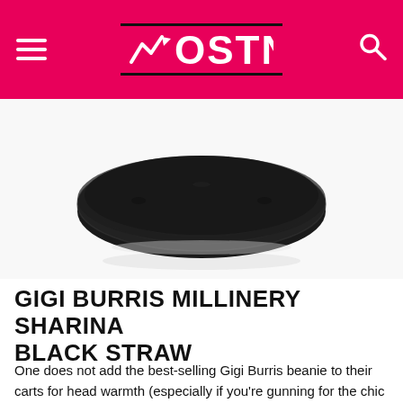OSTN
[Figure (photo): Close-up bottom view of a black woven straw hat brim on white background]
GIGI BURRIS MILLINERY SHARINA BLACK STRAW
One does not add the best-selling Gigi Burris beanie to their carts for head warmth (especially if you're gunning for the chic black straw edition). Rather, one orders this unisex cap for its stylish structural flair and luxury craftsmanship. Often found atop the heads of celebrities (Billy Porter, Skepta, and Ne-Yo to name a few), the Sharina is a timeless, versatile accessory that's worth the investment.